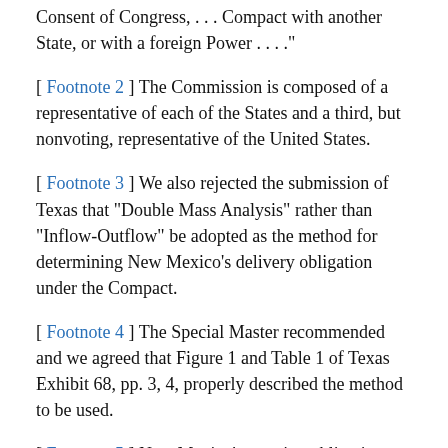Consent of Congress, . . . Compact with another State, or with a foreign Power . . . ."
[ Footnote 2 ] The Commission is composed of a representative of each of the States and a third, but nonvoting, representative of the United States.
[ Footnote 3 ] We also rejected the submission of Texas that "Double Mass Analysis" rather than "Inflow-Outflow" be adopted as the method for determining New Mexico's delivery obligation under the Compact.
[ Footnote 4 ] The Special Master recommended and we agreed that Figure 1 and Table 1 of Texas Exhibit 68, pp. 3, 4, properly described the method to be used.
[ Footnote 5 ] New Mexico's ongoing obligation under Article III(a) of the Compact, as now construed and applied by this Court, will be on the average 10,000 acre-feet higher than New Mexico's deliveries have been in the past.